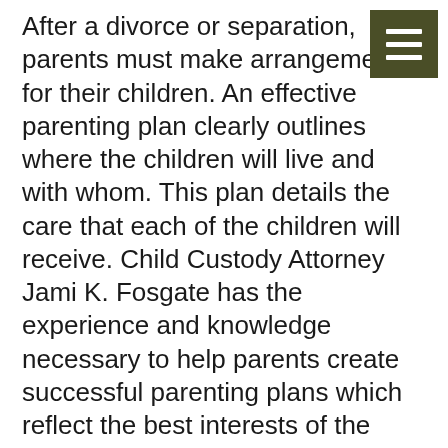[Figure (other): Dark olive green square hamburger menu icon with three white horizontal lines]
After a divorce or separation, parents must make arrangements for their children. An effective parenting plan clearly outlines where the children will live and with whom. This plan details the care that each of the children will receive. Child Custody Attorney Jami K. Fosgate has the experience and knowledge necessary to help parents create successful parenting plans which reflect the best interests of the children.
In matters of child custody, both legal custody and physical custody must be considered. Legal custody refers to the parent who will be making important